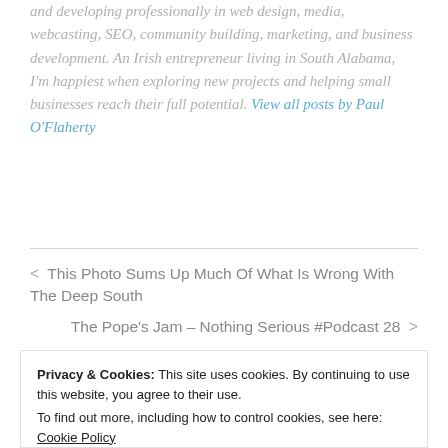and developing professionally in web design, media, webcasting, SEO, community building, marketing, and business development. An Irish entrepreneur living in South Alabama, I'm happiest when exploring new projects and helping small businesses reach their full potential. View all posts by Paul O'Flaherty
< This Photo Sums Up Much Of What Is Wrong With The Deep South
The Pope's Jam – Nothing Serious #Podcast 28 >
Privacy & Cookies: This site uses cookies. By continuing to use this website, you agree to their use. To find out more, including how to control cookies, see here: Cookie Policy
Close and accept
Gamers Only.